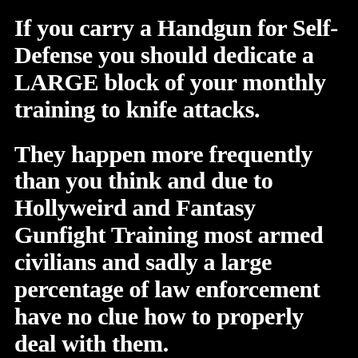If you carry a Handgun for Self-Defense you should dedicate a LARGE block of your monthly training to knife attacks.
They happen more frequently than you think and due to Hollyweird and Fantasy Gunfight Training most armed civilians and sadly a large percentage of law enforcement have no clue how to properly deal with them.